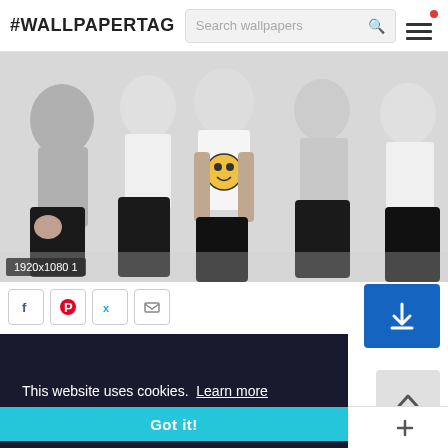#WALLPAPERTAG
[Figure (photo): Group photo of five young men (a band) sitting/kneeling on a white background, wearing casual clothes; the central figure has tattoos and a graphic t-shirt with a smiley face logo]
1920x1080 1
[Figure (screenshot): Social share buttons (Facebook, Pinterest, Twitter, email) and a blue download button with a download arrow icon]
This website uses cookies.  Learn more
Got it!
12 SHARES